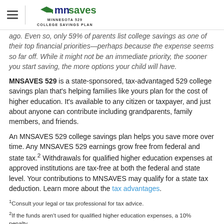MNSAVES Minnesota 529 College Savings Plan
ago. Even so, only 59% of parents list college savings as one of their top financial priorities—perhaps because the expense seems so far off. While it might not be an immediate priority, the sooner you start saving, the more options your child will have.
MNSAVES 529 is a state-sponsored, tax-advantaged 529 college savings plan that's helping families like yours plan for the cost of higher education. It's available to any citizen or taxpayer, and just about anyone can contribute including grandparents, family members, and friends.
An MNSAVES 529 college savings plan helps you save more over time. Any MNSAVES 529 earnings grow free from federal and state tax.² Withdrawals for qualified higher education expenses at approved institutions are tax-free at both the federal and state level. Your contributions to MNSAVES may qualify for a state tax deduction. Learn more about the tax advantages.
¹Consult your legal or tax professional for tax advice.
²If the funds aren't used for qualified higher education expenses, a 10% penalty...